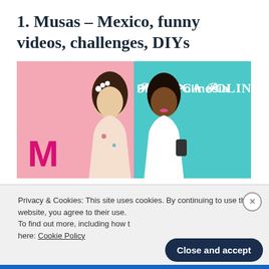1. Musas – Mexico, funny videos, challenges, DIYs
[Figure (photo): Banner image showing two young women posing back-to-back. Left half has a pink background with a magenta 'M' logo (Musas). Right half has a teal background with the text 'Plática Polinesia' in white stylized font.]
This is another Mexican channel (it really does look like Mexicans basically rule
Privacy & Cookies: This site uses cookies. By continuing to use this website, you agree to their use. To find out more, including how to control cookies, see here: Cookie Policy
Close and accept